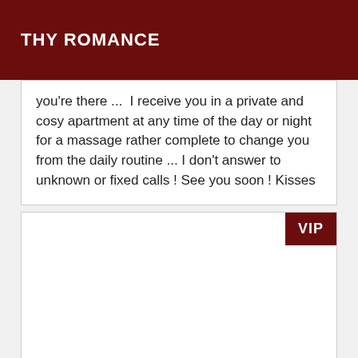THY ROMANCE
you're there ...  I receive you in a private and cosy apartment at any time of the day or night for a massage rather complete to change you from the daily routine ... I don't answer to unknown or fixed calls ! See you soon ! Kisses
[Figure (other): Empty white card with VIP badge in top-right corner]